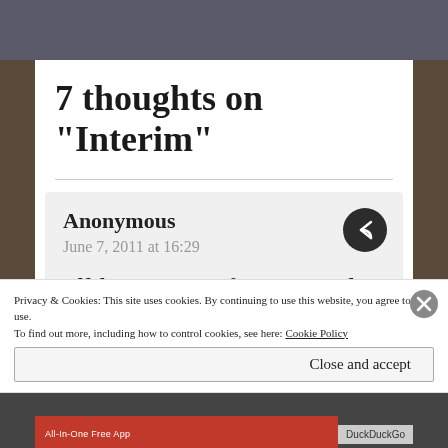7 thoughts on “Interim”
Anonymous
June 7, 2011 at 16:29
I’ll be praying for you and
Privacy & Cookies: This site uses cookies. By continuing to use this website, you agree to their use.
To find out more, including how to control cookies, see here: Cookie Policy
Close and accept